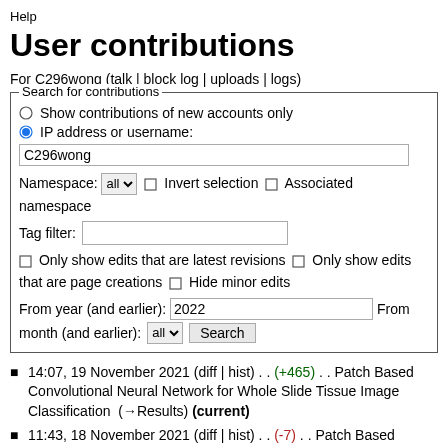Help
User contributions
For C296wong (talk | block log | uploads | logs)
[Figure (screenshot): Search for contributions form with radio buttons, text inputs, namespace selector, tag filter, checkboxes, year/month fields, and Search button]
14:07, 19 November 2021 (diff | hist) . . (+465) . . Patch Based Convolutional Neural Network for Whole Slide Tissue Image Classification  (→Results) (current)
11:43, 18 November 2021 (diff | hist) . . (-7) . . Patch Based